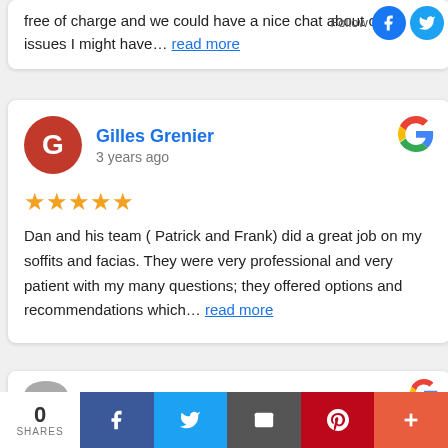free of charge and we could have a nice chat about other issues I might have… read more
Gilles Grenier
3 years ago
★★★★★ Dan and his team ( Patrick and Frank) did a great job on my soffits and facias. They were very professional and very patient with my many questions; they offered options and recommendations which… read more
[Figure (screenshot): Partial bottom review card with Google logo]
0 SHARES | Facebook | Twitter | Email | Pinterest | More